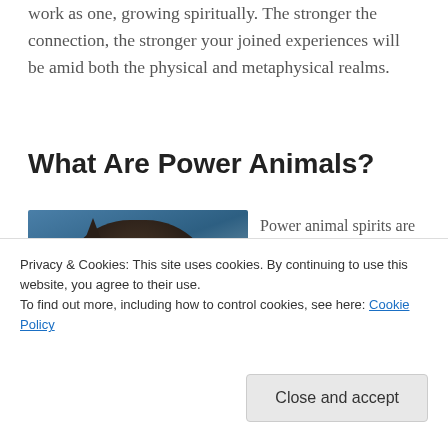work as one, growing spiritually. The stronger the connection, the stronger your joined experiences will be amid both the physical and metaphysical realms.
What Are Power Animals?
[Figure (photo): A dark-colored cat (possibly lynx or wild cat) with pointed ears against a blue sky background]
Power animal spirits are not perceivable by the traditional five
Privacy & Cookies: This site uses cookies. By continuing to use this website, you agree to their use.
To find out more, including how to control cookies, see here: Cookie Policy
animals are